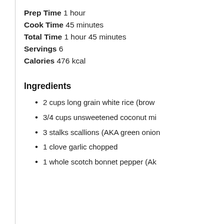Prep Time 1 hour
Cook Time 45 minutes
Total Time 1 hour 45 minutes
Servings 6
Calories 476 kcal
Ingredients
2 cups long grain white rice (brow…
3/4 cups unsweetened coconut mi…
3 stalks scallions (AKA green onion…
1 clove garlic chopped
1 whole scotch bonnet pepper (AK…